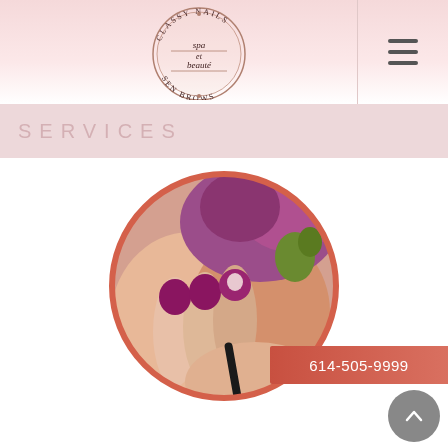[Figure (logo): Classy Nails Spa et Beauté Sen Brows circular logo with decorative text]
SERVICES
[Figure (photo): Circular cropped photo of hands with purple nail polish being applied, with purple flowers in background]
614-505-9999